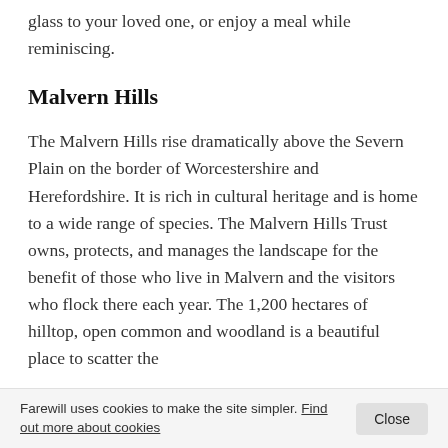glass to your loved one, or enjoy a meal while reminiscing.
Malvern Hills
The Malvern Hills rise dramatically above the Severn Plain on the border of Worcestershire and Herefordshire. It is rich in cultural heritage and is home to a wide range of species. The Malvern Hills Trust owns, protects, and manages the landscape for the benefit of those who live in Malvern and the visitors who flock there each year. The 1,200 hectares of hilltop, open common and woodland is a beautiful place to scatter the
Farewill uses cookies to make the site simpler. Find out more about cookies